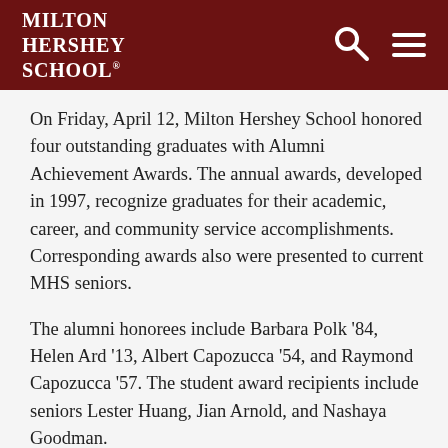MILTON HERSHEY SCHOOL
On Friday, April 12, Milton Hershey School honored four outstanding graduates with Alumni Achievement Awards. The annual awards, developed in 1997, recognize graduates for their academic, career, and community service accomplishments. Corresponding awards also were presented to current MHS seniors.
The alumni honorees include Barbara Polk '84, Helen Ard '13, Albert Capozucca '54, and Raymond Capozucca '57. The student award recipients include seniors Lester Huang, Jian Arnold, and Nashaya Goodman.